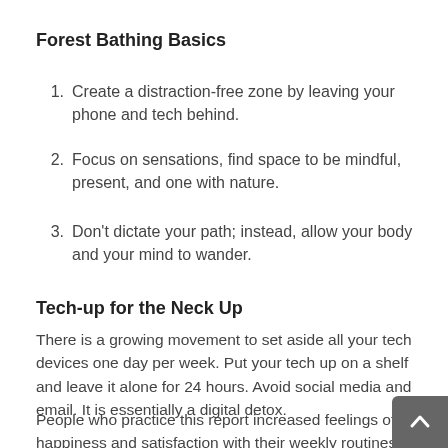Forest Bathing Basics
Create a distraction-free zone by leaving your phone and tech behind.
Focus on sensations, find space to be mindful, present, and one with nature.
Don't dictate your path; instead, allow your body and your mind to wander.
Tech-up for the Neck Up
There is a growing movement to set aside all your tech devices one day per week.  Put your tech up on a shelf and leave it alone for 24 hours. Avoid social media and email.  It is essentially a digital detox.
People who practice this report increased feelings of happiness and satisfaction with their weekly routines.  A tech-free 24 hours promotes stress reduction and gives